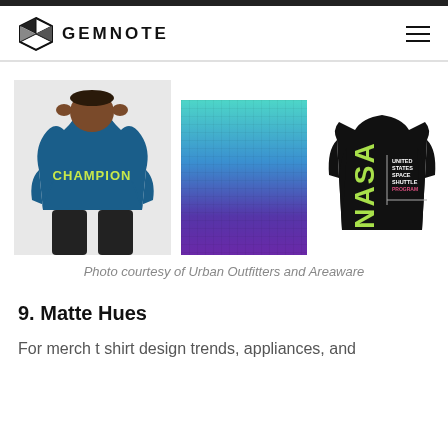GEMNOTE
[Figure (photo): Three product images side by side: a man wearing a blue Champion hoodie, a gradient teal-to-purple puzzle/artwork, and a black NASA long-sleeve shirt]
Photo courtesy of Urban Outfitters and Areaware
9. Matte Hues
For merch t shirt design trends, appliances, and